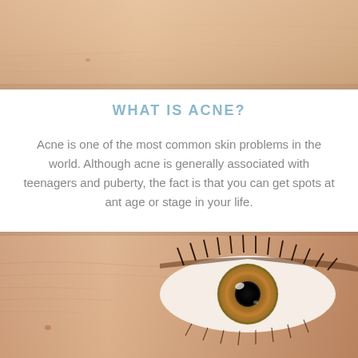[Figure (photo): Close-up photo of a person's forehead and cheek skin, showing skin texture and slight discoloration, cropped at the top of the page.]
WHAT IS ACNE?
Acne is one of the most common skin problems in the world. Although acne is generally associated with teenagers and puberty, the fact is that you can get spots at ant age or stage in your life.
[Figure (photo): Close-up macro photograph of a human eye showing the iris in golden-brown color with detailed texture, eyelashes, and surrounding skin with fine lines.]